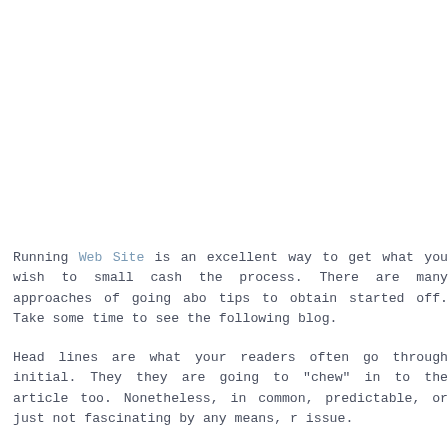Running Web Site is an excellent way to get what you wish to small cash the process. There are many approaches of going abo tips to obtain started off. Take some time to see the following blog.
Head lines are what your readers often go through initial. They they are going to "chew" in to the article too. Nonetheless, in common, predictable, or just not fascinating by any means, r issue.
By no means copy what you compose within your weblog. plagiarism, as well as your status will likely be ruined instant out this. Don't be worried about if you are a great sufficient